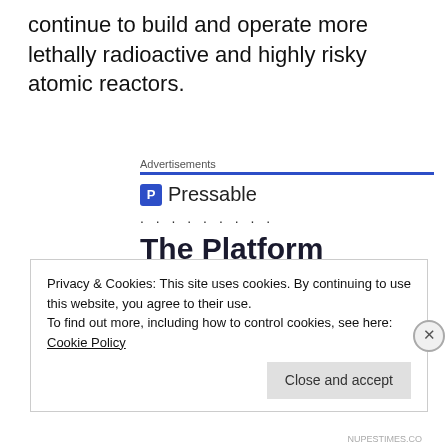continue to build and operate more lethally radioactive and highly risky atomic reactors.
[Figure (screenshot): Pressable advertisement banner with blue underline, Pressable logo icon, brand name, dots, and headline 'The Platform Where WordPress Works Best']
Privacy & Cookies: This site uses cookies. By continuing to use this website, you agree to their use. To find out more, including how to control cookies, see here: Cookie Policy
NUPESTIMES.CO